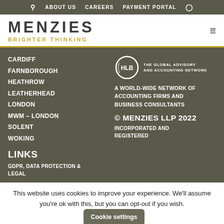🔍  ABOUT US  CAREERS  PAYMENT PORTAL  👤
[Figure (logo): Menzies logo with text MENZIES in large dark letters and BRIGHTER THINKING in gold below, plus hamburger menu icon on right]
CARDIFF
FARNBOROUGH
HEATHROW
LEATHERHEAD
LONDON
MWM – LONDON
SOLENT
WOKING
LINKS
GDPR, DATA PROTECTION & LEGAL
[Figure (logo): HLB circle logo with text THE GLOBAL ADVISORY AND ACCOUNTING NETWORK]
A WORLD-WIDE NETWORK OF ACCOUNTING FIRMS AND BUSINESS CONSULTANTS
© MENZIES LLP 2022
INCORPORATED AND REGISTERED
This website uses cookies to improve your experience. We'll assume you're ok with this, but you can opt-out if you wish.
Cookie settings
Read More
ACCEPT